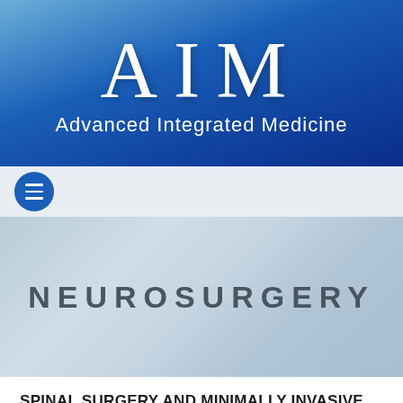[Figure (logo): AIM Advanced Integrated Medicine logo on blue gradient banner background]
[Figure (other): Navigation bar with hamburger menu button]
[Figure (photo): Blurred medical/surgical background image with NEUROSURGERY text overlay]
SPINAL SURGERY AND MINIMALLY INVASIVE SURGICAL TECHNIQUES
A systematic review has shown that the treatment threshold